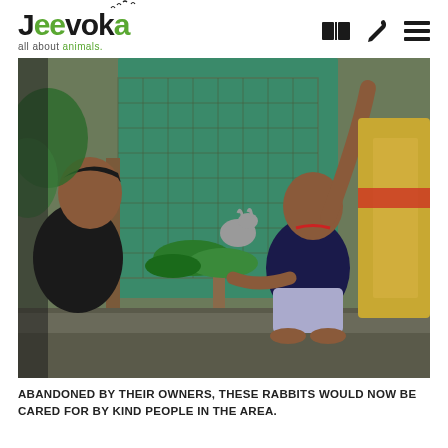Jeevoka — all about animals.
[Figure (photo): Two men near a wire mesh animal cage outdoors. One man in a dark t-shirt stands on the left facing right. Another man in a navy polo shirt squats on the right holding large leaves, with a rabbit visible in the cage behind him. Colourful bags hang to the right. Green tarpaulin is visible in the background.]
ABANDONED BY THEIR OWNERS, THESE RABBITS WOULD NOW BE CARED FOR BY KIND PEOPLE IN THE AREA.